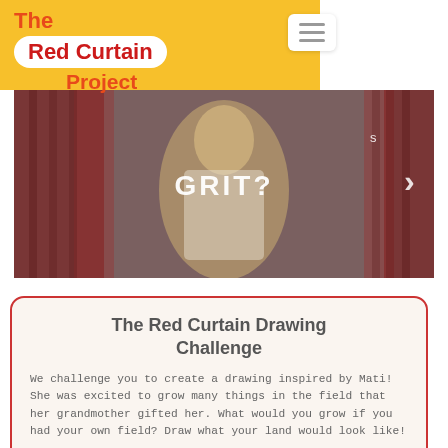The Red Curtain Project
[Figure (photo): A person in a white shirt standing in front of red curtains with text overlay reading 'GRIT?' and a forward arrow navigation element]
The Red Curtain Drawing Challenge
We challenge you to create a drawing inspired by Mati! She was excited to grow many things in the field that her grandmother gifted her. What would you grow if you had your own field? Draw what your land would look like!
Send us your drawings at info@threshdance.org and you'll see them here on the site.